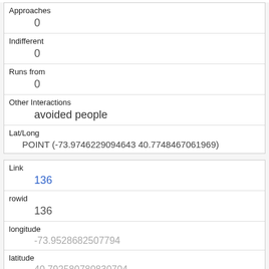| Approaches | 0 |
| Indifferent | 0 |
| Runs from | 0 |
| Other Interactions | avoided people |
| Lat/Long | POINT (-73.9746229094643 40.7748467061969) |
| Link | 136 |
| rowid | 136 |
| longitude | -73.9528682507794 |
| latitude | 40.792580780830704 |
| Unique Squirrel ID |  |